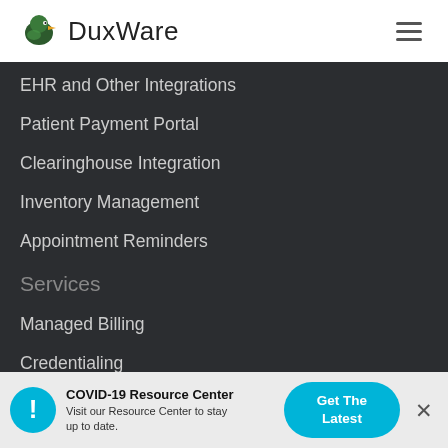DuxWare
EHR and Other Integrations
Patient Payment Portal
Clearinghouse Integration
Inventory Management
Appointment Reminders
Services
Managed Billing
Credentialing
DuxWare for Billing Companies
Links
COVID-19 Resource Center
Visit our Resource Center to stay up to date.
Get The Latest